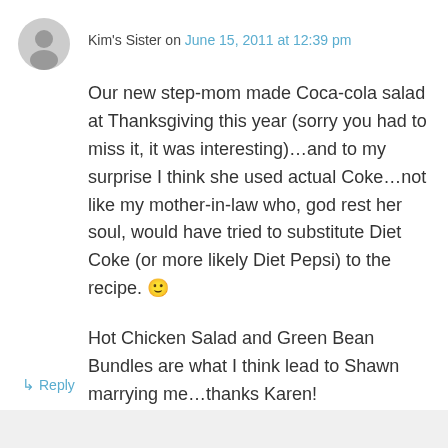Kim's Sister on June 15, 2011 at 12:39 pm
Our new step-mom made Coca-cola salad at Thanksgiving this year (sorry you had to miss it, it was interesting)…and to my surprise I think she used actual Coke…not like my mother-in-law who, god rest her soul, would have tried to substitute Diet Coke (or more likely Diet Pepsi) to the recipe. 🙂
Hot Chicken Salad and Green Bean Bundles are what I think lead to Shawn marrying me…thanks Karen!
↳ Reply